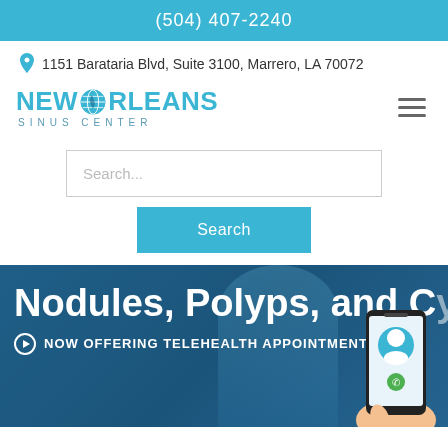(504) 407-2240
1151 Barataria Blvd, Suite 3100, Marrero, LA 70072
[Figure (logo): New Orleans Sinus Center logo with globe icon]
Search...
Search
Nodules, Polyps, and Cysts
NOW OFFERING TELEHEALTH APPOINTMENTS